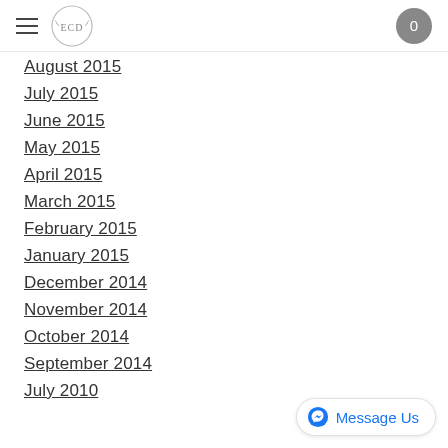ECD logo and navigation header
August 2015
July 2015
June 2015
May 2015
April 2015
March 2015
February 2015
January 2015
December 2014
November 2014
October 2014
September 2014
July 2010